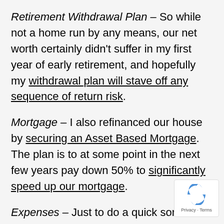Retirement Withdrawal Plan – So while not a home run by any means, our net worth certainly didn't suffer in my first year of early retirement, and hopefully my withdrawal plan will stave off any sequence of return risk.
Mortgage – I also refinanced our house by securing an Asset Based Mortgage. The plan is to at some point in the next few years pay down 50% to significantly speed up our mortgage.
Expenses – Just to do a quick sort of annual review, I double checked our expenses for the